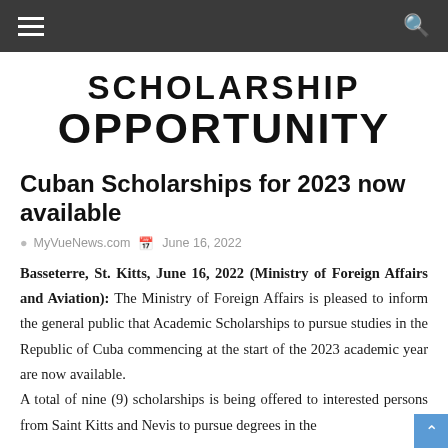≡  [nav bar]  🔍
[Figure (illustration): Scholarship Opportunity banner text in bold black letters on white background]
Cuban Scholarships for 2023 now available
MyVueNews.com   June 16, 2022
Basseterre, St. Kitts, June 16, 2022 (Ministry of Foreign Affairs and Aviation): The Ministry of Foreign Affairs is pleased to inform the general public that Academic Scholarships to pursue studies in the Republic of Cuba commencing at the start of the 2023 academic year are now available. A total of nine (9) scholarships is being offered to interested persons from Saint Kitts and Nevis to pursue degrees in the